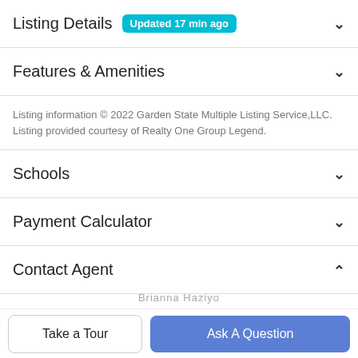Listing Details Updated 17 min ago
Features & Amenities
Listing information © 2022 Garden State Multiple Listing Service,LLC. Listing provided courtesy of Realty One Group Legend.
Schools
Payment Calculator
Contact Agent
[Figure (photo): Agent profile photo circle]
Brianna Haziyo
Take a Tour
Ask A Question